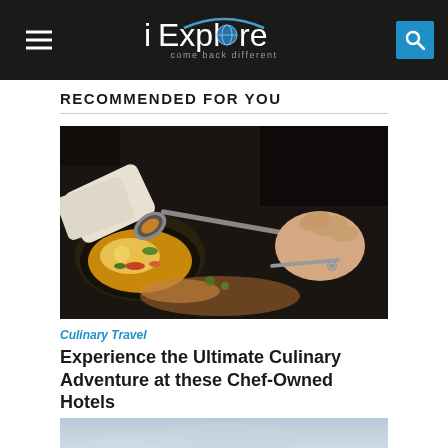iExplore — come back different
RECOMMENDED FOR YOU
[Figure (photo): A chef plating food, hand holding a spoon over a dish with colorful ingredients in a kitchen setting]
Culinary Travel
Experience the Ultimate Culinary Adventure at these Chef-Owned Hotels
[Figure (photo): Partial view of a second article image showing a scenic outdoor scene with sky]